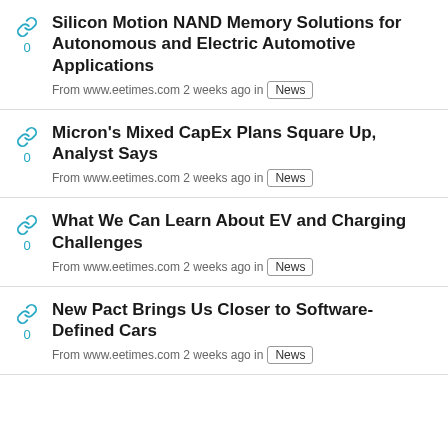Silicon Motion NAND Memory Solutions for Autonomous and Electric Automotive Applications
From www.eetimes.com 2 weeks ago in News
Micron's Mixed CapEx Plans Square Up, Analyst Says
From www.eetimes.com 2 weeks ago in News
What We Can Learn About EV and Charging Challenges
From www.eetimes.com 2 weeks ago in News
New Pact Brings Us Closer to Software-Defined Cars
From www.eetimes.com 2 weeks ago in News